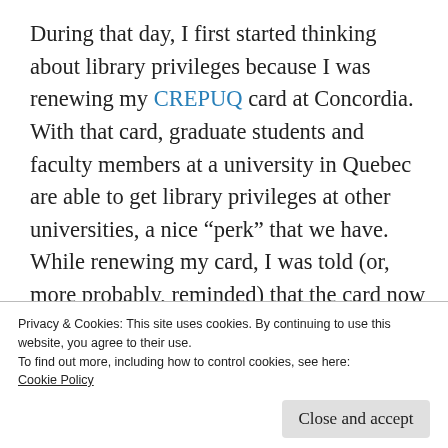During that day, I first started thinking about library privileges because I was renewing my CREPUQ card at Concordia. With that card, graduate students and faculty members at a university in Quebec are able to get library privileges at other universities, a nice “perk” that we have. While renewing my card, I was told (or, more probably, reminded) that the card now gives me borrowing privileges at any university library in Canada through CURBA
Privacy & Cookies: This site uses cookies. By continuing to use this website, you agree to their use.
To find out more, including how to control cookies, see here:
Cookie Policy
Close and accept